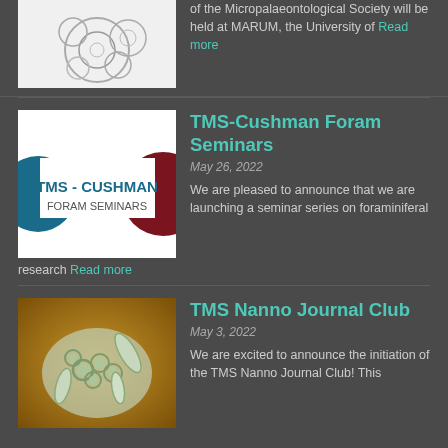of the Micropalaeontological Society will be held at MARUM, the University of Read more
[Figure (illustration): Circular foraminifera illustration, white background with black line drawing of foraminifera shells]
TMS-Cushman Foram Seminars
May 26, 2022
We are pleased to announce that we are launching a seminar series on foraminiferal research Read more
[Figure (logo): TMS-Cushman Foram Seminars logo with teal and dark red circles]
TMS Nanno Journal Club
May 3, 2022
We are excited to announce the initiation of the TMS Nanno Journal Club! This
[Figure (photo): Scanning electron microscope image of nannofossils on a brown/tan textured background]